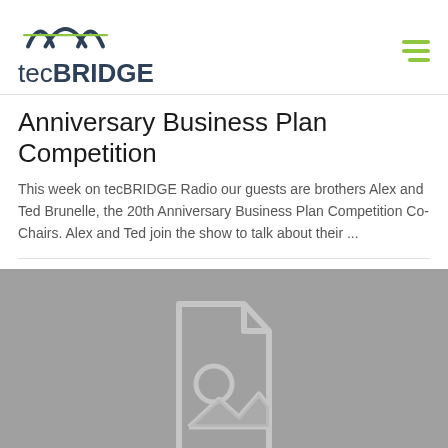tecBRIDGE
Anniversary Business Plan Competition
This week on tecBRIDGE Radio our guests are brothers Alex and Ted Brunelle, the 20th Anniversary Business Plan Competition Co-Chairs. Alex and Ted join the show to talk about their ...
[Figure (illustration): Gray placeholder image with a document/image icon in the center, indicating a missing or loading image]